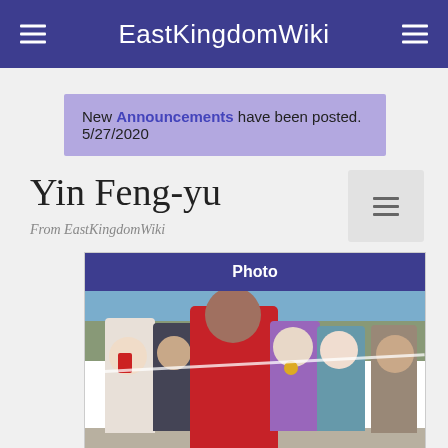EastKingdomWiki
New Announcements have been posted. 5/27/2020
Yin Feng-yu
From EastKingdomWiki
[Figure (photo): Photo box with header 'Photo' and an image of a group of people in medieval costumes outdoors, with a person in red in the foreground appearing to receive something from others in a ceremony.]